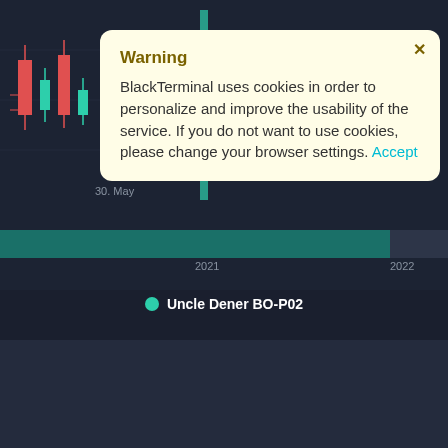[Figure (screenshot): Dark-themed candlestick chart background with teal/red candles visible on left side, timeline bar showing 2021 and 2022 labels at bottom]
30. May
2021
2022
Uncle Dener BO-P02
Warning
BlackTerminal uses cookies in order to personalize and improve the usability of the service. If you do not want to use cookies, please change your browser settings. Accept
Bond description
Uncle Dener BO-P02
Emitent
Дядя Дé
Status
trading